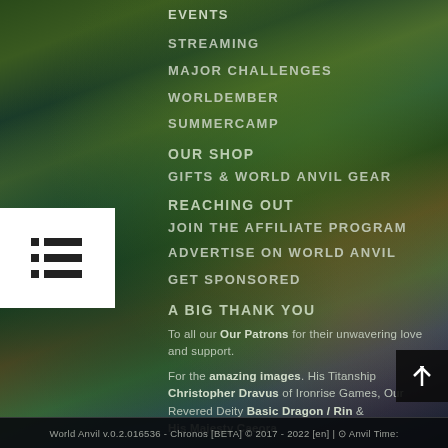EVENTS
STREAMING
MAJOR CHALLENGES
WORLDEMBER
SUMMERCAMP
OUR SHOP
GIFTS & WORLD ANVIL GEAR
REACHING OUT
JOIN THE AFFILIATE PROGRAM
ADVERTISE ON WORLD ANVIL
GET SPONSORED
A BIG THANK YOU
To all our Our Patrons for their unwavering love and support.
For the amazing images. His Titanship Christopher Dravus of Ironrise Games, Our Revered Deity Basic Dragon / Rin & His Majesty Caeora
World Anvil v.0.2.016536 - Chronos [BETA] © 2017 - 2022 [en] | ⊙ Anvil Time: